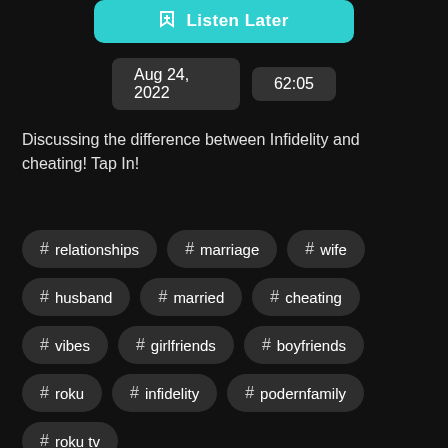[Figure (screenshot): Listen Later button (teal/cyan colored pill button with bookmark icon)]
Aug 24, 2022    62:05
Discussing the difference between Infidelity and cheating! Tap In!
# relationships
# marriage
# wife
# husband
# married
# cheating
# vibes
# girlfriends
# boyfriends
# roku
# infidelity
# podernfamily
# roku tv